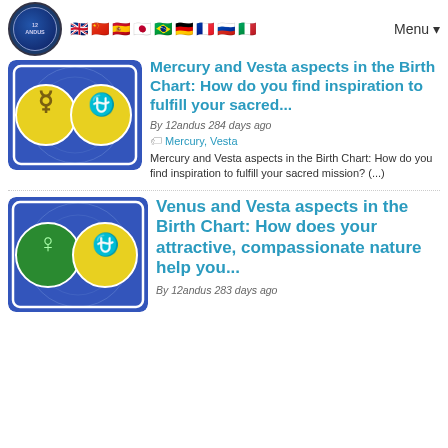12andus | Menu
[Figure (illustration): Thumbnail image showing Mercury and Vesta astrological symbols on blue background with yellow circles]
Mercury and Vesta aspects in the Birth Chart: How do you find inspiration to fulfill your sacred...
By 12andus 284 days ago
Mercury, Vesta
Mercury and Vesta aspects in the Birth Chart: How do you find inspiration to fulfill your sacred mission? (...)
[Figure (illustration): Thumbnail image showing Venus and Vesta astrological symbols on blue background with green and yellow circles]
Venus and Vesta aspects in the Birth Chart: How does your attractive, compassionate nature help you...
By 12andus 283 days ago